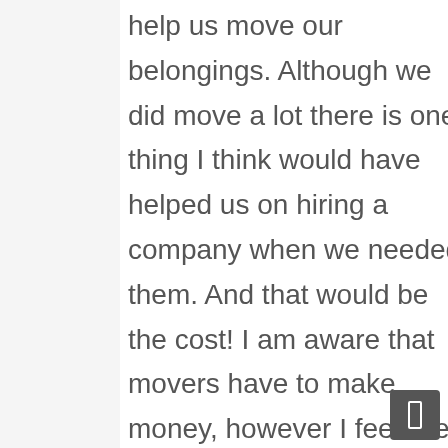help us move our belongings. Although we did move a lot there is one thing I think would have helped us on hiring a company when we needed them. And that would be the cost! I am aware that movers have to make money, however I feel like some company's should be reasonable or offer a short payment plan to the middle and lower class.